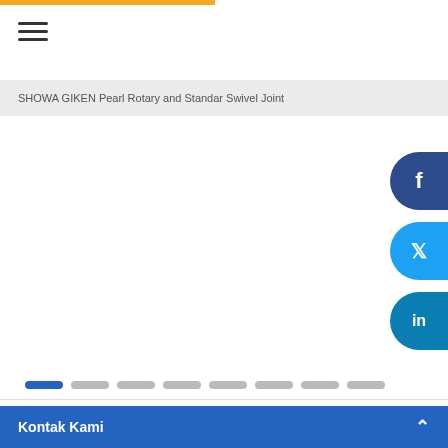SHOWA GIKEN Pearl Rotary and Standar Swivel Joint
[Figure (screenshot): Product image carousel area showing SHOWA GIKEN Pearl Rotary and Standar Swivel Joint, currently empty/white with navigation dots at bottom. Social share buttons (Facebook, Twitter, LinkedIn) visible on right side.]
SHOWA GIKEN Pearl Rotary And Standar Swivel Joint
Kontak Kami